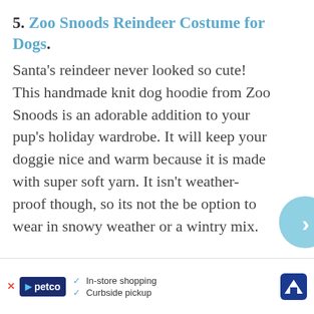5. Zoo Snoods Reindeer Costume for Dogs.
Santa's reindeer never looked so cute! This handmade knit dog hoodie from Zoo Snoods is an adorable addition to your pup's holiday wardrobe. It will keep your doggie nice and warm because it is made with super soft yarn. It isn't weather-proof though, so its not the be option to wear in snowy weather or a wintry mix.
This Zoo Snoods Reindeer costume had a cute hoodie with reindeer antlers that might even trick S...
[Figure (other): Blue circular navigation arrow button on the right side]
[Figure (other): Petco advertisement banner at the bottom with logo, in-store shopping and curbside pickup text, and a navigation icon]